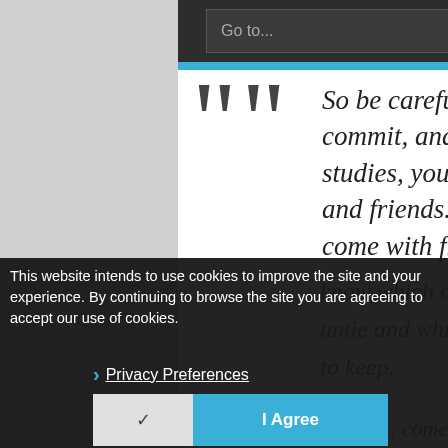Go to...
So be careful in what you choose, in what you commit, and in your relationships wiht your studies, your work, your parents, your lovers, and friends. Commitment and responsibility come with freedom,
This website intends to use cookies to improve the site and your experience. By continuing to browse the site you are agreeing to accept our use of cookies.
Privacy Preferences
I Agree
Of course the segment... come